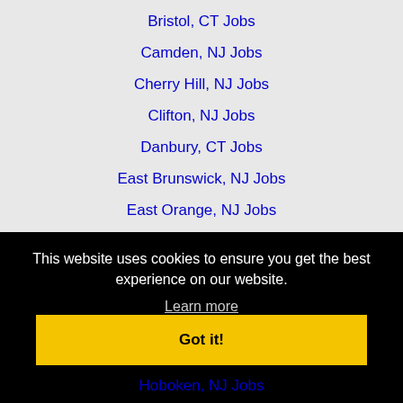Bristol, CT Jobs
Camden, NJ Jobs
Cherry Hill, NJ Jobs
Clifton, NJ Jobs
Danbury, CT Jobs
East Brunswick, NJ Jobs
East Orange, NJ Jobs
Edison, NJ Jobs
Elizabeth, NJ Jobs
Fairfield, CT Jobs
This website uses cookies to ensure you get the best experience on our website.
Learn more
Got it!
Hoboken, NJ Jobs